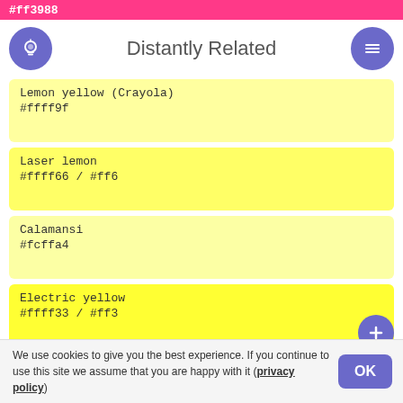#ff3988
Distantly Related
Lemon yellow (Crayola)
#ffff9f
Laser lemon
#ffff66 / #ff6
Calamansi
#fcffa4
Electric yellow
#ffff33 / #ff3
Daffodil
#ffff31
We use cookies to give you the best experience. If you continue to use this site we assume that you are happy with it (privacy policy)